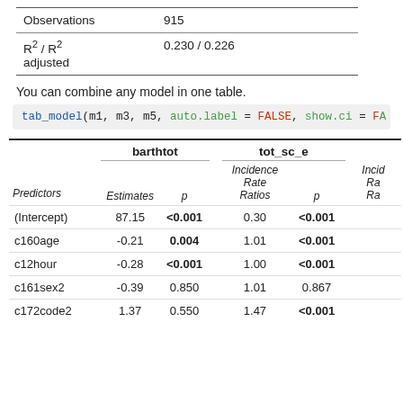|  |  |
| --- | --- |
| Observations | 915 |
| R² / R²
adjusted | 0.230 / 0.226 |
You can combine any model in one table.
tab_model(m1, m3, m5, auto.label = FALSE, show.ci = FA
| Predictors | Estimates | p | Incidence Rate Ratios | p | Incidence Rate Ra |
| --- | --- | --- | --- | --- | --- |
| (Intercept) | 87.15 | <0.001 | 0.30 | <0.001 |  |
| c160age | -0.21 | 0.004 | 1.01 | <0.001 |  |
| c12hour | -0.28 | <0.001 | 1.00 | <0.001 |  |
| c161sex2 | -0.39 | 0.850 | 1.01 | 0.867 |  |
| c172code2 | 1.37 | 0.550 | 1.47 | <0.001 |  |